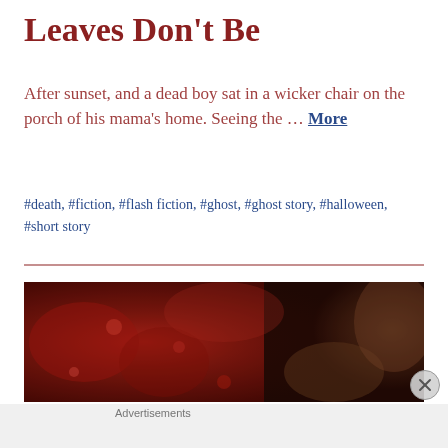Leaves Don't Be
After sunset, and a dead boy sat in a wicker chair on the porch of his mama's home. Seeing the … More
#death, #fiction, #flash fiction, #ghost, #ghost story, #halloween, #short story
[Figure (photo): Dark red and brown macro texture photo, possibly autumn leaves or organic material]
Advertisements
[Figure (infographic): DuckDuckGo advertisement banner on orange background with phone mockup showing DuckDuckGo app. Text: Search, browse, and email with more privacy. All in One Free App. DuckDuckGo.]